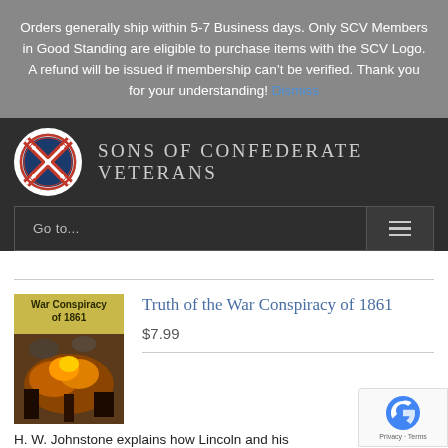Orders generally ship within 5-7 Business days. Only SCV Members in Good Standing are eligible to purchase items with the SCV Logo. A refund will be issued if membership can't be verified. Thank you for your understanding! Dismiss
[Figure (logo): Sons of Confederate Veterans logo — circular emblem with Confederate battle flag, red white and blue, with text around the border]
SONS OF CONFEDERATE VETERANS
Go to...
[Figure (photo): Book cover for 'War Conspiracy of 1861' showing a Civil War battle scene with fire and smoke]
Truth of the War Conspiracy of 1861
$7.99
H. W. Johnstone explains how Lincoln and his